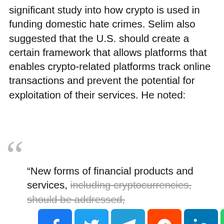significant study into how crypto is used in funding domestic hate crimes. Selim also suggested that the U.S. should create a certain framework that allows platforms that enables crypto-related platforms track online transactions and prevent the potential for exploitation of their services. He noted:
“New forms of financial products and services, including cryptocurrencies, should be addressed...
[Figure (screenshot): Social media share buttons: Facebook, Twitter, Telegram, Reddit, LinkedIn, WhatsApp, Copy, Scroll-to-top]
products and services for those endeavoring to stop the funding of hate and violence.
Cointelegraph.com uses Cookies to ensure the best experience for you.
ACCEPT
While the U.S. is trying to address all possible terrorist